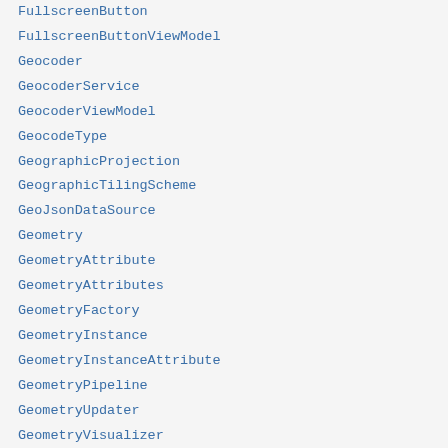FullscreenButton
FullscreenButtonViewModel
Geocoder
GeocoderService
GeocoderViewModel
GeocodeType
GeographicProjection
GeographicTilingScheme
GeoJsonDataSource
Geometry
GeometryAttribute
GeometryAttributes
GeometryFactory
GeometryInstance
GeometryInstanceAttribute
GeometryPipeline
GeometryUpdater
GeometryVisualizer
getAbsoluteUri
getBaseUri